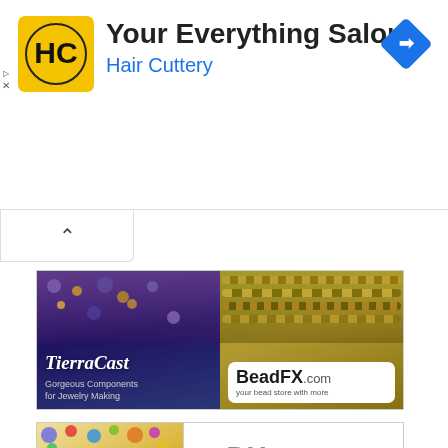[Figure (screenshot): Hair Cuttery ad banner with yellow HC logo, title 'Your Everything Salon', subtitle 'Hair Cuttery' in blue, and a blue navigation diamond icon on the right. Ad indicator triangle and X on the left edge.]
[Figure (screenshot): Collapse/minimize button area with upward chevron arrow, partially bordered box below the banner ad.]
[Figure (screenshot): TierraCast and BeadFX.com combined banner ad. Left side shows dark purple background with beads and text 'TierraCast Gorgeous Components for Jewelry Making'. Right side shows colorful beads with white rounded box containing 'BeadFX.com your bead store with more'.]
[Figure (screenshot): Czech Beads and DHgate.com combined banner ad. Left side shows colorful beads on golden background with text 'EXCLUSIVE CZECH BEADS FLAT RATE SHIPPING'. Right side has white background with 'DHgate.com' logo and 'Wholesale Loose Beads'.]